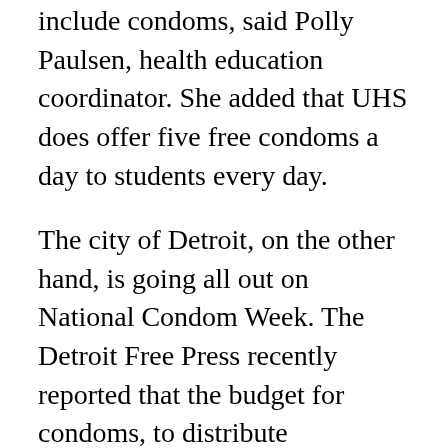include condoms, said Polly Paulsen, health education coordinator. She added that UHS does offer five free condoms a day to students every day.
The city of Detroit, on the other hand, is going all out on National Condom Week. The Detroit Free Press recently reported that the budget for condoms, to distribute throughout the week, has increased to $6,000, up from last year’s budget of $500.
Detroit Health Department workers are keeping busy during the week, handing out free condoms at everywhere from car washes to comedy clubs.